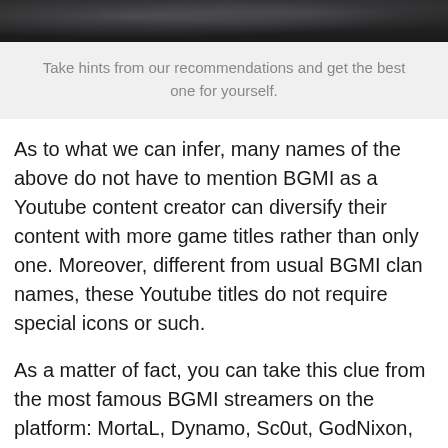[Figure (photo): Dark smoky banner image at the top of the page]
Take hints from our recommendations and get the best one for yourself.
As to what we can infer, many names of the above do not have to mention BGMI as a Youtube content creator can diversify their content with more game titles rather than only one. Moreover, different from usual BGMI clan names, these Youtube titles do not require special icons or such.
As a matter of fact, you can take this clue from the most famous BGMI streamers on the platform: MortaL, Dynamo, Sc0ut, GodNixon, Regaltos. Their names are not long which makes it easier for viewers to remember.